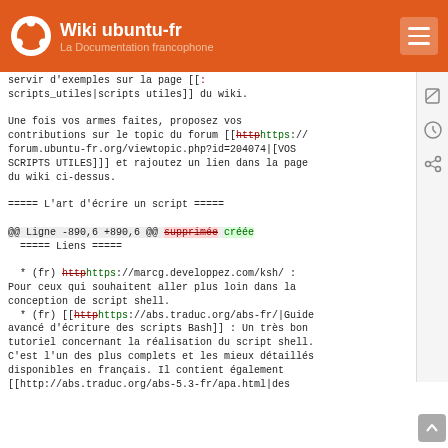Wiki ubuntu-fr — La Documentation francophone
servir d'exemples sur la page [[:
scripts_utiles|scripts utiles]] du wiki.

Une fois vos armes faites, proposez vos
contributions sur le topic du forum [[http/https://
forum.ubuntu-fr.org/viewtopic.php?id=204074|[VOS
SCRIPTS UTILES]]] et rajoutez un lien dans la page
du wiki ci-dessus.

===== L'art d'écrire un script =====

@@ Ligne -890,6 +890,6 @@ supprimée créée
  ===== Liens =====

  * (fr) http/https://marcg.developpez.com/ksh/ :
Pour ceux qui souhaitent aller plus loin dans la
conception de script shell.
  * (fr) [[http/https://abs.traduc.org/abs-fr/|Guide
avancé d'écriture des scripts Bash]] : Un très bon
tutoriel concernant la réalisation du script shell.
C'est l'un des plus complets et les mieux détaillés
disponibles en français. Il contient également
[[http://abs.traduc.org/abs-5.3-fr/apa.html|des